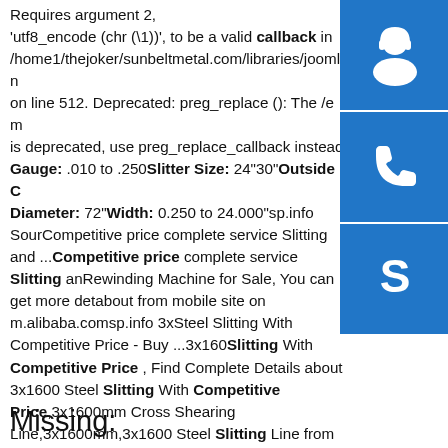Requires argument 2, 'utf8_encode (chr (\1))', to be a valid callback in /home1/thejoker/sunbeltmetal.com/libraries/joomla/filter/filtering on line 512. Deprecated: preg_replace (): The /e modifier is deprecated, use preg_replace_callback instead... Gauge: .010 to .250 Slitter Size: 24"30" Outside Diameter: 72" Width: 0.250 to 24.000"sp.info Source Competitive price complete service Slitting and ...Competitive price complete service Slitting and Rewinding Machine for Sale, You can get more details about from mobile site on m.alibaba.comsp.info 3x1600 Steel Slitting With Competitive Price - Buy ...3x1600 Slitting With Competitive Price , Find Complete Details about 3x1600 Steel Slitting With Competitive Price,3x1600mm Cross Shearing Line,3x1600mm,3x1600 Steel Slitting Line from Coil Slitting Machine Supplier or Manufacturer-Shanghai Honcang Industrial Limited
[Figure (illustration): Three blue square buttons stacked vertically: headset/customer service icon, phone icon, Skype icon]
Missing: